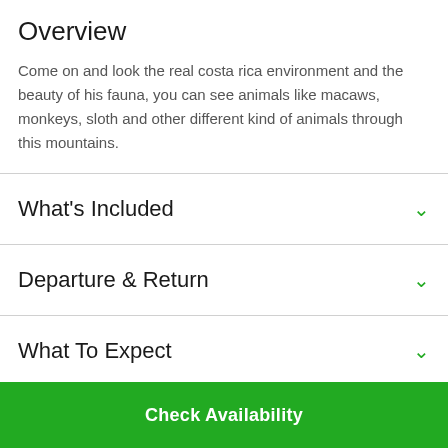Overview
Come on and look the real costa rica environment and the beauty of his fauna, you can see animals like macaws, monkeys, sloth and other different kind of animals through this mountains.
What's Included
Departure & Return
What To Expect
Check Availability